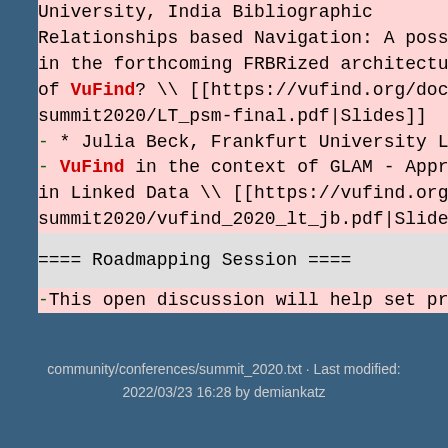University, India  Bibliographic Relationships based Navigation: A possibility in the forthcoming FRBRized architecture of VuFind? \\ [[https://vufind.org/docs/summit2020/LT_psm-final.pdf|Slides]]
* Julia Beck, Frankfurt University Library + - VuFind in the context of GLAM - Approaches in Linked Data \\ [[https://vufind.org/docs/summit2020/vufind_2020_lt_jb.pdf|Slides]]
==== Roadmapping Session ====
-This open discussion will help set priorities for the next VuFind release and will offer opportunities for community members to volunteer to support various projects.
---- struct data ----
----
community/conferences/summit_2020.txt · Last modified: 2022/03/23 16:28 by demiankatz